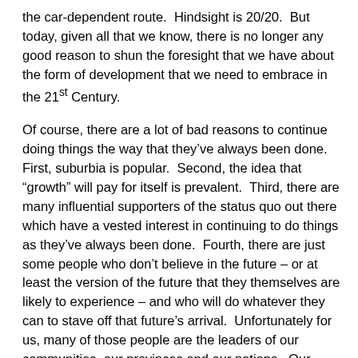the car-dependent route.  Hindsight is 20/20.  But today, given all that we know, there is no longer any good reason to shun the foresight that we have about the form of development that we need to embrace in the 21st Century.
Of course, there are a lot of bad reasons to continue doing things the way that they've always been done.  First, suburbia is popular.  Second, the idea that “growth” will pay for itself is prevalent.  Third, there are many influential supporters of the status quo out there which have a vested interest in continuing to do things as they've always been done.  Fourth, there are just some people who don't believe in the future – or at least the version of the future that they themselves are likely to experience – and who will do whatever they can to stave off that future's arrival.  Unfortunately for us, many of those people are the leaders of our communities, our provinces and our nations.  Our elected officials, our leaders of business and industry, even our educators and public servants – too many continue to fight for the future of the past, rather than the future that we are actually likely to get.